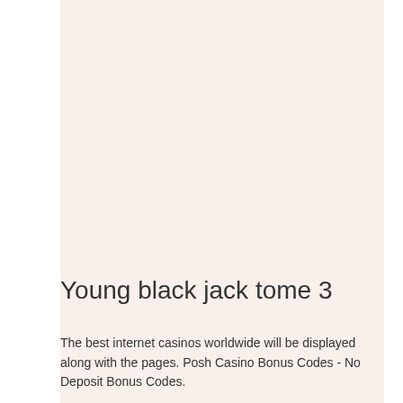Young black jack tome 3
The best internet casinos worldwide will be displayed along with the pages. Posh Casino Bonus Codes - No Deposit Bonus Codes.